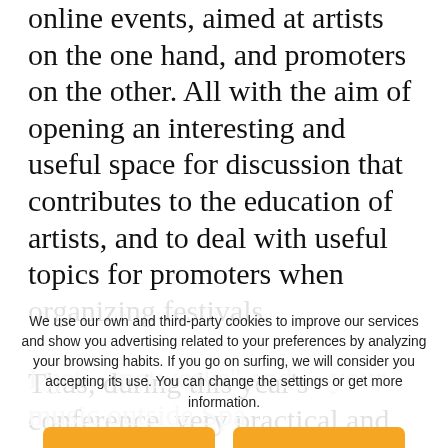online events, aimed at artists on the one hand, and promoters on the other. All with the aim of opening an interesting and useful space for discussion that contributes to the education of artists, and to deal with useful topics for promoters when organizing festivals.
Thus, during this year's conference, very practical and useful information for musicians will be put on the table, such as "How to sell your project and the importance ... I get ... networks" and ... your music outside Spain
We use our own and third-party cookies to improve our services and show you advertising related to your preferences by analyzing your browsing habits. If you go on surfing, we will consider you accepting its use. You can change the settings or get more information.